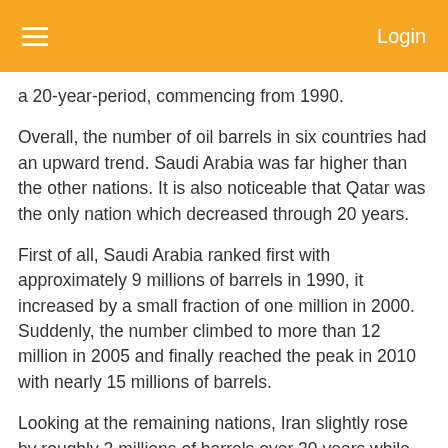Login
a 20-year-period, commencing from 1990.
Overall, the number of oil barrels in six countries had an upward trend. Saudi Arabia was far higher than the other nations. It is also noticeable that Qatar was the only nation which decreased through 20 years.
First of all, Saudi Arabia ranked first with approximately 9 millions of barrels in 1990, it increased by a small fraction of one million in 2000. Suddenly, the number climbed to more than 12 million in 2005 and finally reached the peak in 2010 with nearly 15 millions of barrels.
Looking at the remaining nations, Iran slightly rose by roughly 2 millions of barrels over 20 years while Iraq and Iran were followed by with the figure being moderate at the beginning of